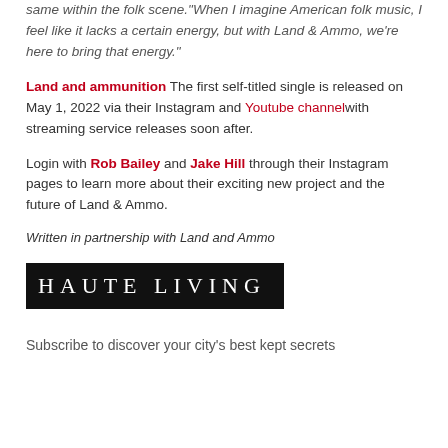same within the folk scene. "When I imagine American folk music, I feel like it lacks a certain energy, but with Land & Ammo, we're here to bring that energy."
Land and ammunition The first self-titled single is released on May 1, 2022 via their Instagram and Youtube channel with streaming service releases soon after.
Login with Rob Bailey and Jake Hill through their Instagram pages to learn more about their exciting new project and the future of Land & Ammo.
Written in partnership with Land and Ammo
[Figure (logo): Haute Living logo — white text on black background with spaced serif letters]
Subscribe to discover your city's best kept secrets